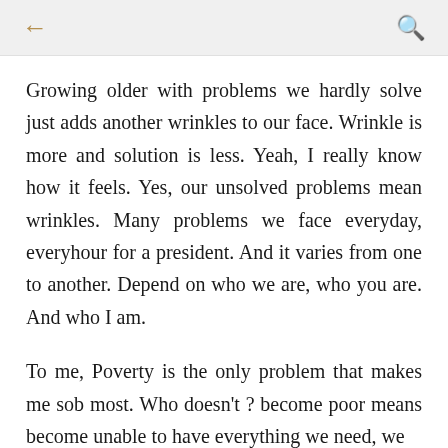← [back] [search]
Growing older with problems we hardly solve just adds another wrinkles to our face. Wrinkle is more and solution is less. Yeah, I really know how it feels. Yes, our unsolved problems mean wrinkles. Many problems we face everyday, everyhour for a president. And it varies from one to another. Depend on who we are, who you are. And who I am.
To me, Poverty is the only problem that makes me sob most. Who doesn't ? become poor means become unable to have everything we need, we